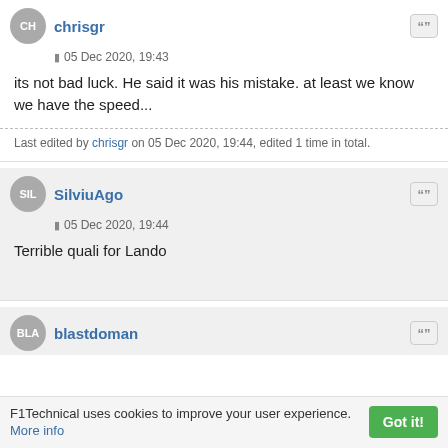chrisgr
05 Dec 2020, 19:43
its not bad luck. He said it was his mistake. at least we know we have the speed...
Last edited by chrisgr on 05 Dec 2020, 19:44, edited 1 time in total.
SilviuAgo
05 Dec 2020, 19:44
Terrible quali for Lando
blastdoman
F1Technical uses cookies to improve your user experience. More info